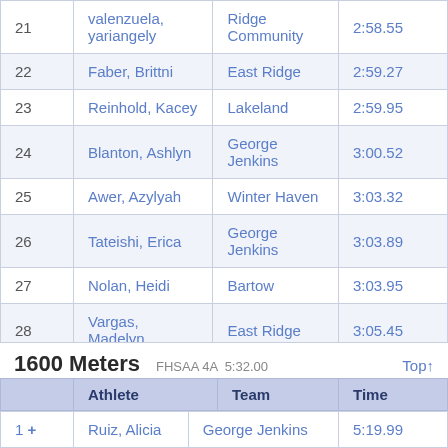|  | Athlete | Team | Time |
| --- | --- | --- | --- |
| 21 | valenzuela, yariangely | Ridge Community | 2:58.55 |
| 22 | Faber, Brittni | East Ridge | 2:59.27 |
| 23 | Reinhold, Kacey | Lakeland | 2:59.95 |
| 24 | Blanton, Ashlyn | George Jenkins | 3:00.52 |
| 25 | Awer, Azylyah | Winter Haven | 3:03.32 |
| 26 | Tateishi, Erica | George Jenkins | 3:03.89 |
| 27 | Nolan, Heidi | Bartow | 3:03.95 |
| 28 | Vargas, Madelyn | East Ridge | 3:05.45 |
| 29 | Beard, Kelayna | Haines City | 3:05.84 |
| 30 | Leslie, Samantha | Lakeland | 3:08.10 |
1600 Meters   FHSAA 4A  5:32.00   Top↑
|  | Athlete | Team | Time |
| --- | --- | --- | --- |
| 1 + | Ruiz, Alicia | George Jenkins | 5:19.99 |